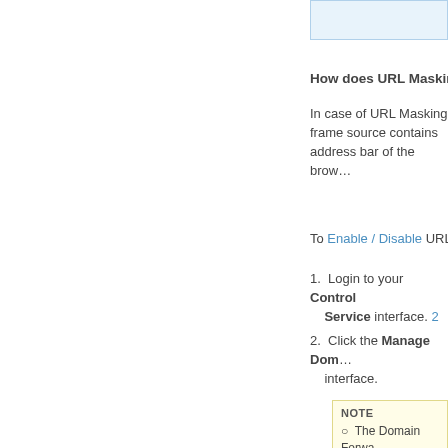[Figure (screenshot): Blue highlighted box at the top right of the page, part of a UI screenshot]
How does URL Masking w…
In case of URL Masking frame source contains address bar of the brow…
To Enable / Disable URL M…
1. Login to your Control Service interface. 2
2. Click the Manage Dom… interface.
NOTE
The Domain Forwa… first time.